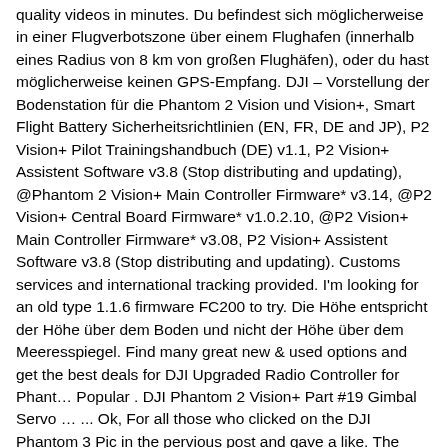quality videos in minutes. Du befindest sich möglicherweise in einer Flugverbotszone über einem Flughafen (innerhalb eines Radius von 8 km von großen Flughäfen), oder du hast möglicherweise keinen GPS-Empfang. DJI – Vorstellung der Bodenstation für die Phantom 2 Vision und Vision+, Smart Flight Battery Sicherheitsrichtlinien (EN, FR, DE and JP), P2 Vision+ Pilot Trainingshandbuch (DE) v1.1, P2 Vision+ Assistent Software v3.8 (Stop distributing and updating), @Phantom 2 Vision+ Main Controller Firmware* v3.14, @P2 Vision+ Central Board Firmware* v1.0.2.10, @P2 Vision+ Main Controller Firmware* v3.08, P2 Vision+ Assistent Software v3.8 (Stop distributing and updating). Customs services and international tracking provided. I'm looking for an old type 1.1.6 firmware FC200 to try. Die Höhe entspricht der Höhe über dem Boden und nicht der Höhe über dem Meeresspiegel. Find many great new & used options and get the best deals for DJI Upgraded Radio Controller for Phant… Popular . DJI Phantom 2 Vision+ Part #19 Gimbal Servo … ... Ok, For all those who clicked on the DJI Phantom 3 Pic in the pervious post and gave a like. The metal connectors form a stiff mechanical connection with the battery, you will need quite a bit of force to remove the battery. You would have to replace the camera. 20.Der S1-Schalter befindet sich bereits im GPS-Modus, aber die Vision App meldet ständig, dass ich mich im GPS-Modus befinden muss. Someone would be so kind to give me the download link